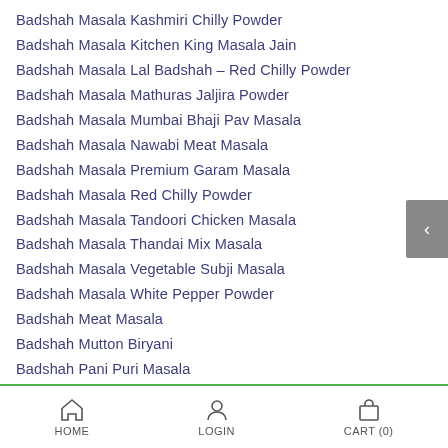Badshah Masala Kashmiri Chilly Powder
Badshah Masala Kitchen King Masala Jain
Badshah Masala Lal Badshah – Red Chilly Powder
Badshah Masala Mathuras Jaljira Powder
Badshah Masala Mumbai Bhaji Pav Masala
Badshah Masala Nawabi Meat Masala
Badshah Masala Premium Garam Masala
Badshah Masala Red Chilly Powder
Badshah Masala Tandoori Chicken Masala
Badshah Masala Thandai Mix Masala
Badshah Masala Vegetable Subji Masala
Badshah Masala White Pepper Powder
Badshah Meat Masala
Badshah Mutton Biryani
Badshah Pani Puri Masala
Badshah Punjabi Chhole
Badshah Punjabi Chole Masala
HOME   LOGIN   CART (0)